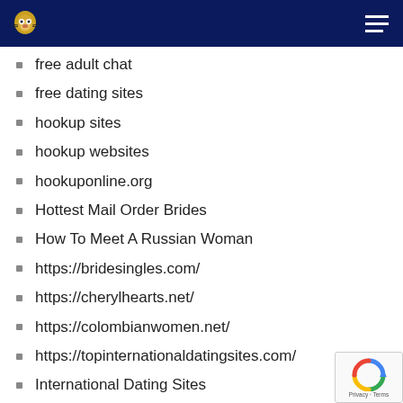[Logo: wildcat mascot] [Hamburger menu]
free adult chat
free dating sites
hookup sites
hookup websites
hookuponline.org
Hottest Mail Order Brides
How To Meet A Russian Woman
https://bridesingles.com/
https://cherylhearts.net/
https://colombianwomen.net/
https://topinternationaldatingsites.com/
International Dating Sites